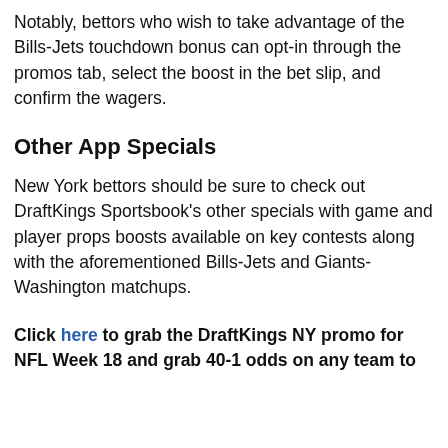Notably, bettors who wish to take advantage of the Bills-Jets touchdown bonus can opt-in through the promos tab, select the boost in the bet slip, and confirm the wagers.
Other App Specials
New York bettors should be sure to check out DraftKings Sportsbook’s other specials with game and player props boosts available on key contests along with the aforementioned Bills-Jets and Giants-Washington matchups.
Click here to grab the DraftKings NY promo for NFL Week 18 and grab 40-1 odds on any team to